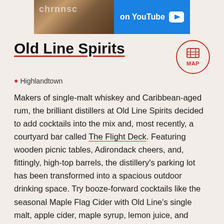[Figure (screenshot): Banner advertisement showing partial text 'chrnnsc' on left with brownish background image, and 'on YouTube' text with play button icon on blue background on right.]
Old Line Spirits
📍 Highlandtown
Makers of single-malt whiskey and Caribbean-aged rum, the brilliant distillers at Old Line Spirits decided to add cocktails into the mix and, most recently, a courtyard bar called The Flight Deck. Featuring wooden picnic tables, Adirondack cheers, and, fittingly, high-top barrels, the distillery's parking lot has been transformed into a spacious outdoor drinking space. Try booze-forward cocktails like the seasonal Maple Flag Cider with Old Line's single malt, apple cider, maple syrup, lemon juice, and walnut bitters.